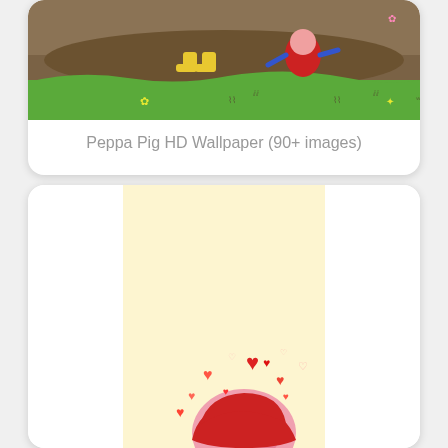[Figure (illustration): Peppa Pig characters playing in muddy puddles on green grass background, with yellow boots visible]
Peppa Pig HD Wallpaper (90+ images)
[Figure (illustration): Peppa Pig character peeking from bottom, wearing red hood, surrounded by red heart shapes on a pale yellow/cream background]